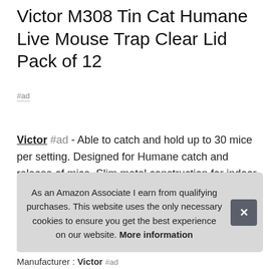Victor M308 Tin Cat Humane Live Mouse Trap Clear Lid Pack of 12
#ad
Victor #ad - Able to catch and hold up to 30 mice per setting. Designed for Humane catch and release of mice. Slim metal construction for indoor or outdoor use. Lid opens for easy, offsite release after catches. Convenient viewing window allows you to see when there's a catch.
As an Amazon Associate I earn from qualifying purchases. This website uses the only necessary cookies to ensure you get the best experience on our website. More information
Manufacturer : Victor #ad